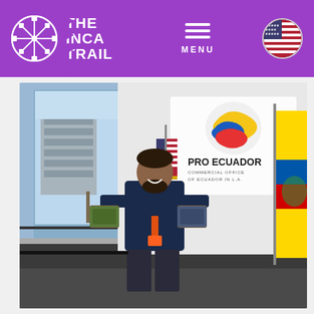[Figure (logo): The Inca Trail logo - circular Inca wheel symbol in white on purple, with THE INCA TRAIL text in white]
[Figure (photo): Man standing in an office holding two product packages, in front of a Pro Ecuador Commercial Office of Ecuador in L.A. sign with colorful logo, American flag on left, Ecuadorian flag on right, window with city view behind him]